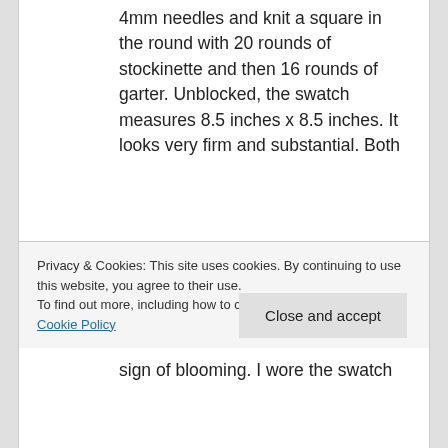4mm needles and knit a square in the round with 20 rounds of stockinette and then 16 rounds of garter. Unblocked, the swatch measures 8.5 inches x 8.5 inches. It looks very firm and substantial. Both stitches are crisp and well defined. No halo, bit of curling at the corners due to the increases. Will be interesting to see if these smooth out in the blocking.
Privacy & Cookies: This site uses cookies. By continuing to use this website, you agree to their use.
To find out more, including how to control cookies, see here: Cookie Policy
Close and accept
sign of blooming. I wore the swatch